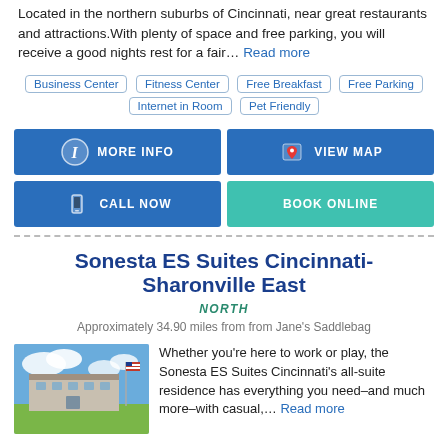Located in the northern suburbs of Cincinnati, near great restaurants and attractions.With plenty of space and free parking, you will receive a good nights rest for a fair… Read more
Business Center
Fitness Center
Free Breakfast
Free Parking
Internet in Room
Pet Friendly
[Figure (infographic): MORE INFO button with info icon]
[Figure (infographic): VIEW MAP button with map pin icon]
[Figure (infographic): CALL NOW button with phone icon]
[Figure (infographic): BOOK ONLINE button (teal)]
Sonesta ES Suites Cincinnati-Sharonville East
NORTH
Approximately 34.90 miles from from Jane's Saddlebag
[Figure (photo): Photo of hotel exterior with American flag and blue sky]
Whether you're here to work or play, the Sonesta ES Suites Cincinnati's all-suite residence has everything you need–and much more–with casual,… Read more